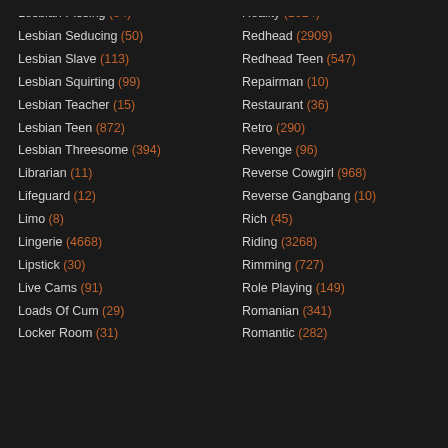Lesbian Pissing (54)
Lesbian Seducing (50)
Lesbian Slave (113)
Lesbian Squirting (99)
Lesbian Teacher (15)
Lesbian Teen (872)
Lesbian Threesome (394)
Librarian (11)
Lifeguard (12)
Limo (8)
Lingerie (4668)
Lipstick (30)
Live Cams (91)
Loads Of Cum (29)
Locker Room (31)
Reality (1624)
Redhead (2909)
Redhead Teen (547)
Repairman (10)
Restaurant (36)
Retro (290)
Revenge (96)
Reverse Cowgirl (968)
Reverse Gangbang (10)
Rich (45)
Riding (3268)
Rimming (727)
Role Playing (149)
Romanian (341)
Romantic (282)